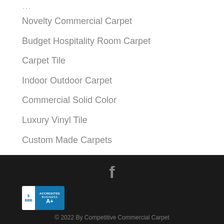Novelty Commercial Carpet
Budget Hospitality Room Carpet
Carpet Tile
Indoor Outdoor Carpet
Commercial Solid Color
Luxury Vinyl Tile
Custom Made Carpets
[Figure (logo): BBB Accredited Business A+ badge]
© 2022 By Competitive Commercial Carpet